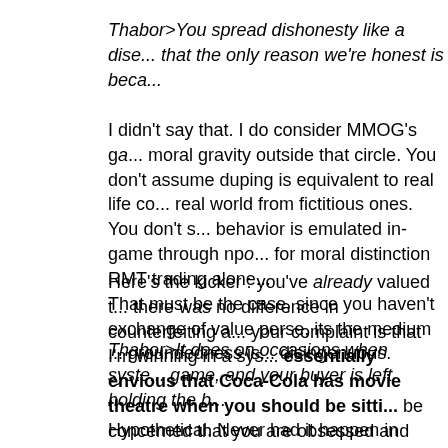Thabor>You spread dishonesty like a dise... that the only reason we're honest is beca...
I didn't say that. I do consider MMOG's ga... moral gravity outside that circle. You don't assume duping is equivalent to real life co... real world from fictitious ones. You don't s... behavior is emulated in-game through npo... for moral distinction RMT trading alone... That must be the case, since you haven't exchange of value perse, its the medium ... groundedness is... disingenuous.
Here's the kicker : you've already valued t... there was no difference in counterfeiting a... your complaint is that I'm winning in a sys... essentially envious that Coca-Cola has movie theatre when you should be sitti... be concerned that you are obsessed and which many customers view as an asset?
Thabor>It does on occasions when syste... game, and your buyer is left holding the b...
Hypothetical. Never had it happen in prac... only deleted my stuff. Even when downtin... re-delivered. Everyone received value. If Problem solved. How else would I would dilemma.